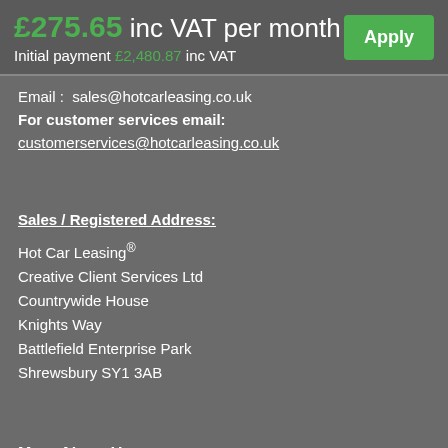£275.65 inc VAT per month Initial payment £2,480.87 inc VAT
Apply
Email :  sales@hotcarleasing.co.uk
For customer services email:
customerservices@hotcarleasing.co.uk
Sales / Registered Address:
Hot Car Leasing®
Creative Client Services Ltd
Countrywide House
Knights Way
Battlefield Enterprise Park
Shrewsbury SY1 3AB
More About Us:
Cookie Policy